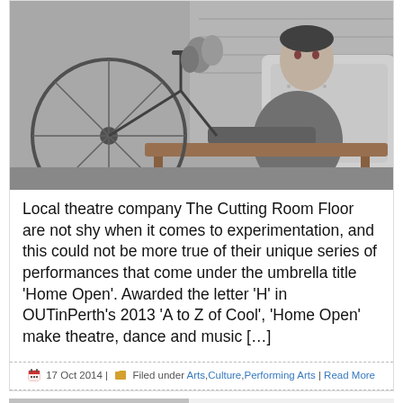[Figure (photo): Black and white photo of a young man sitting on a couch next to a vintage bicycle and flowers]
Local theatre company The Cutting Room Floor are not shy when it comes to experimentation, and this could not be more true of their unique series of performances that come under the umbrella title ‘Home Open’. Awarded the letter ‘H’ in OUTinPerth’s 2013 ‘A to Z of Cool’, ‘Home Open’ make theatre, dance and music […]
17 Oct 2014 | Filed under Arts, Culture, Performing Arts | Read More
[Figure (photo): Black and white advertisement image showing a dog wearing a hat with the word TASCHEN in bold]